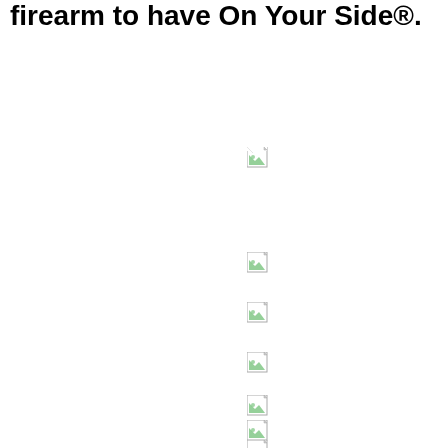firearm to have On Your Side®.
[Figure (other): Broken image placeholder icon 1]
[Figure (other): Broken image placeholder icon 2]
[Figure (other): Broken image placeholder icon 3]
[Figure (other): Broken image placeholder icon 4]
[Figure (other): Broken image placeholder icon 5]
[Figure (other): Broken image placeholder icon 6]
[Figure (other): Broken image placeholder icon 7]